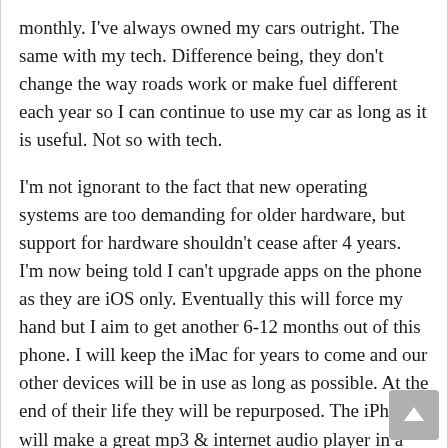monthly. I've always owned my cars outright. The same with my tech. Difference being, they don't change the way roads work or make fuel different each year so I can continue to use my car as long as it is useful. Not so with tech.
I'm not ignorant to the fact that new operating systems are too demanding for older hardware, but support for hardware shouldn't cease after 4 years. I'm now being told I can't upgrade apps on the phone as they are iOS only. Eventually this will force my hand but I aim to get another 6-12 months out of this phone. I will keep the iMac for years to come and our other devices will be in use as long as possible. At the end of their life they will be repurposed. The iPhone will make a great mp3 & internet audio player in a